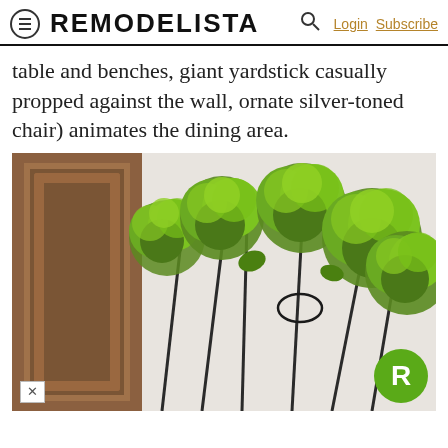REMODELISTA — Login Subscribe
table and benches, giant yardstick casually propped against the wall, ornate silver-toned chair) animates the dining area.
[Figure (photo): Close-up photograph of green ranunculus flowers with dark wire stems arranged in a vase, with a wooden framed mirror or door in the background. A green circular Remodelista 'R' logo badge appears in the bottom right corner.]